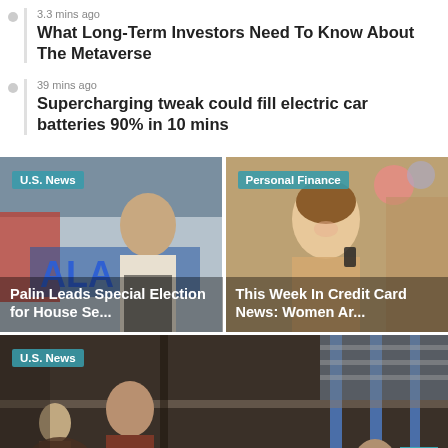3.3 mins ago
What Long-Term Investors Need To Know About The Metaverse
39 mins ago
Supercharging tweak could fill electric car batteries 90% in 10 mins
[Figure (photo): Photo of Sarah Palin in front of Alaska signage with U.S. News badge and caption 'Palin Leads Special Election for House Se...']
[Figure (photo): Photo of a woman smiling with Personal Finance badge and caption 'This Week In Credit Card News: Women Ar...']
[Figure (photo): Wide photo of people inside what appears to be a migrant detention facility with U.S. News badge and caption 'Number Of People Trying To Cross Border']